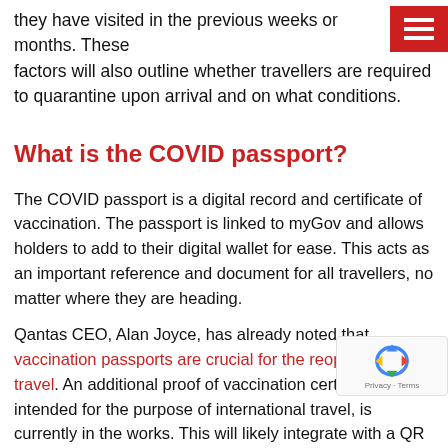they have visited in the previous weeks or months. These factors will also outline whether travellers are required to quarantine upon arrival and on what conditions.
What is the COVID passport?
The COVID passport is a digital record and certificate of vaccination. The passport is linked to myGov and allows holders to add to their digital wallet for ease. This acts as an important reference and document for all travellers, no matter where they are heading.
Qantas CEO, Alan Joyce, has already noted that vaccination passports are crucial for the reopening of travel. An additional proof of vaccination certificate, intended for the purpose of international travel, is currently in the works. This will likely integrate with a QR